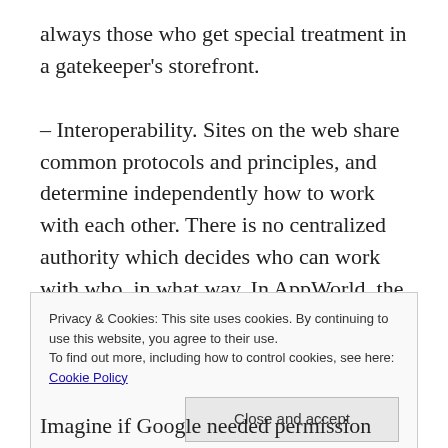always those who get special treatment in a gatekeeper's storefront.
– Interoperability. Sites on the web share common protocols and principles, and determine independently how to work with each other. There is no centralized authority which decides who can work with who, in what way. In AppWorld, the apps
Privacy & Cookies: This site uses cookies. By continuing to use this website, you agree to their use.
To find out more, including how to control cookies, see here: Cookie Policy
Close and accept
Imagine if Google needed permission from